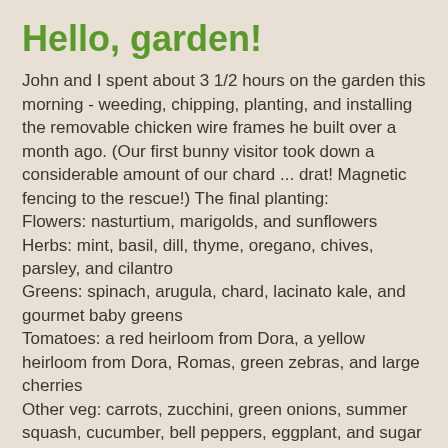Hello, garden!
John and I spent about 3 1/2 hours on the garden this morning - weeding, chipping, planting, and installing the removable chicken wire frames he built over a month ago. (Our first bunny visitor took down a considerable amount of our chard ... drat! Magnetic fencing to the rescue!) The final planting:
Flowers: nasturtium, marigolds, and sunflowers
Herbs: mint, basil, dill, thyme, oregano, chives, parsley, and cilantro
Greens: spinach, arugula, chard, lacinato kale, and gourmet baby greens
Tomatoes: a red heirloom from Dora, a yellow heirloom from Dora, Romas, green zebras, and large cherries
Other veg: carrots, zucchini, green onions, summer squash, cucumber, bell peppers, eggplant, and sugar snap peas/green beans (green beans to be planted when sugar snaps are over.)
We'll enjoy our first major harvest for lunch today - giant salads with spinach, arugula, and mixed lettuces. WAHOO!